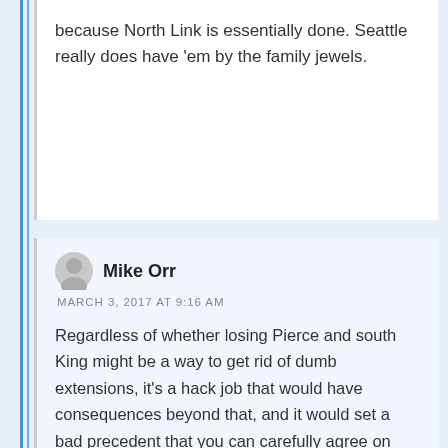because North Link is essentially done. Seattle really does have 'em by the family jewels.
Mike Orr
MARCH 3, 2017 AT 9:16 AM
Regardless of whether losing Pierce and south King might be a way to get rid of dumb extensions, it's a hack job that would have consequences beyond that, and it would set a bad precedent that you can carefully agree on something and then have some parties renege on it. It's like when some